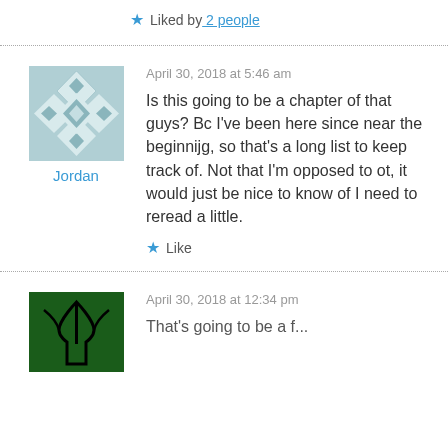★ Liked by 2 people
April 30, 2018 at 5:46 am
Is this going to be a chapter of that guys? Bc I've been here since near the beginnijg, so that's a long list to keep track of. Not that I'm opposed to ot, it would just be nice to know of I need to reread a little.
★ Like
April 30, 2018 at 12:34 pm